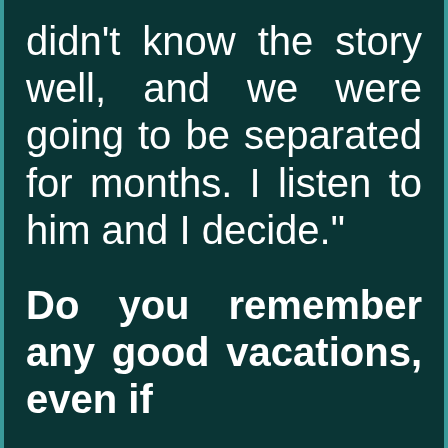didn't know the story well, and we were going to be separated for months. I listen to him and I decide."
Do you remember any good vacations, even if